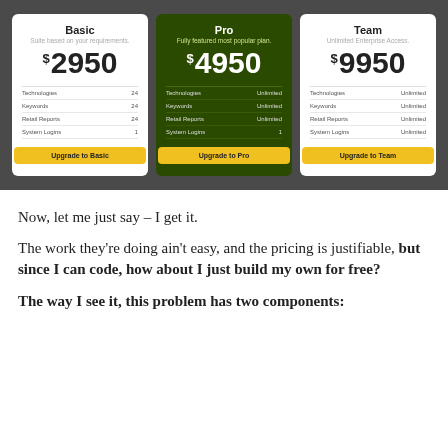[Figure (infographic): Pricing comparison table with three plan cards: Basic ($2950), Pro ($4950, dark green highlighted), and Team ($9950). Each card shows Technologies, Keywords, Retail Reports, System Logins features and an upgrade button.]
Now, let me just say – I get it.
The work they're doing ain't easy, and the pricing is justifiable, but since I can code, how about I just build my own for free?
The way I see it, this problem has two components: